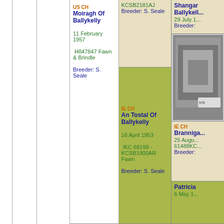US CH Moiragh Of Ballykelly
11 February 1957
H847847 Fawn & Brindle
Breeder: S. Seale
KCSB2181AJ
Breeder: S. Seale
Shangar Ballykelly
29 July ...
Breeder:
[Figure (photo): Black and white photo of a dog]
IE CH An Tostal Of Ballykelly
16 April 1953
IKC 68199 - KCSB1900AR Fawn
Breeder: S. Seale
IE CH Branniga...
25 August...
61488KC...
Breeder:
Patricia
6 May 1...